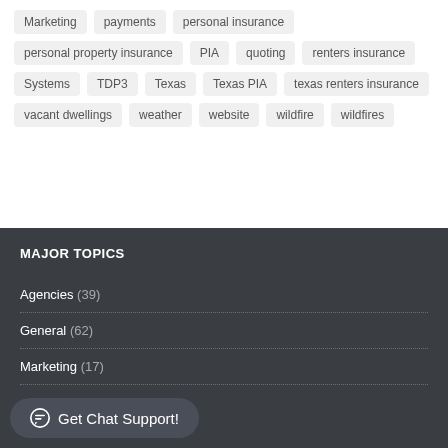Marketing
payments
personal insurance
personal property insurance
PIA
quoting
renters insurance
Systems
TDP3
Texas
Texas PIA
texas renters insurance
vacant dwellings
weather
website
wildfire
wildfires
MAJOR TOPICS
Agencies (39)
General (62)
Marketing (17)